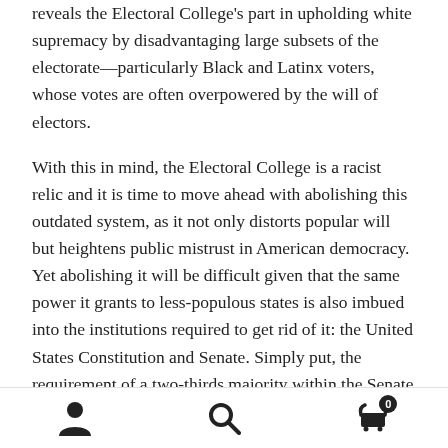reveals the Electoral College's part in upholding white supremacy by disadvantaging large subsets of the electorate—particularly Black and Latinx voters, whose votes are often overpowered by the will of electors.
With this in mind, the Electoral College is a racist relic and it is time to move ahead with abolishing this outdated system, as it not only distorts popular will but heightens public mistrust in American democracy. Yet abolishing it will be difficult given that the same power it grants to less-populous states is also imbued into the institutions required to get rid of it: the United States Constitution and Senate. Simply put, the requirement of a two-thirds majority within the Senate to amend the Constitutional framework behind the Electoral College would be an
[navigation icons: user, search, cart (0)]